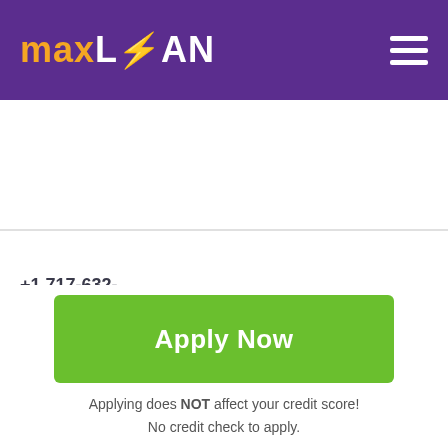MaxLoan
+1 717-632-7389
woodforest.com
[Figure (screenshot): Partial screenshot of a card row with an image thumbnail]
Apply Now
Applying does NOT affect your credit score! No credit check to apply.